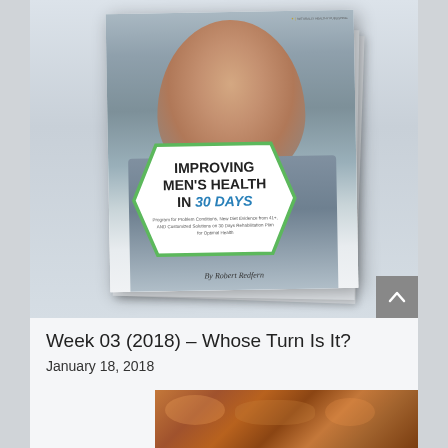[Figure (photo): Book cover for 'Improving Men's Health in 30 Days' by Robert Redfern, showing a smiling middle-aged man in a grey shirt. The cover features a hexagonal badge with the title text. Multiple copies of the book are stacked.]
Week 03 (2018) – Whose Turn Is It?
January 18, 2018
[Figure (photo): Partial image of bread or baked goods at the bottom of the page]